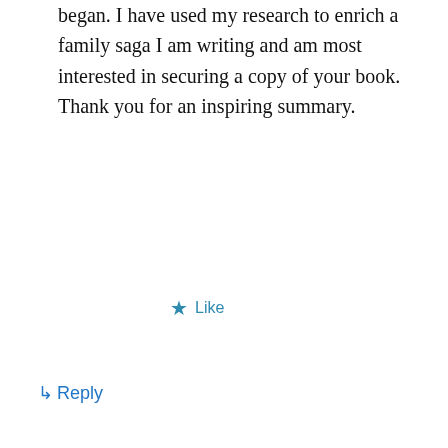began. I have used my research to enrich a family saga I am writing and am most interested in securing a copy of your book. Thank you for an inspiring summary.
★ Like
↪ Reply
[Figure (screenshot): Advertisement banner: ThePlatform Where WordPress Works Best | Pressable logo. REPORT THIS AD text below.]
Privacy & Cookies: This site uses cookies. By continuing to use this website, you agree to their use. To find out more, including how to control cookies, see here: Cookie Policy
Close and accept